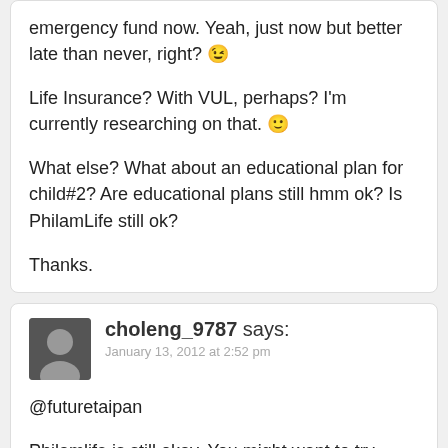emergency fund now. Yeah, just now but better late than never, right? 😉

Life Insurance? With VUL, perhaps? I'm currently researching on that. 🙂

What else? What about an educational plan for child#2? Are educational plans still hmm ok? Is PhilamLife still ok?

Thanks.
choleng_9787 says:
January 13, 2012 at 2:52 pm

@futuretaipan

Philamlife is still okay. You might want to try other options like AXA or Sunlife.
irene ogot says:
May 17, 2012 at 11:25 am